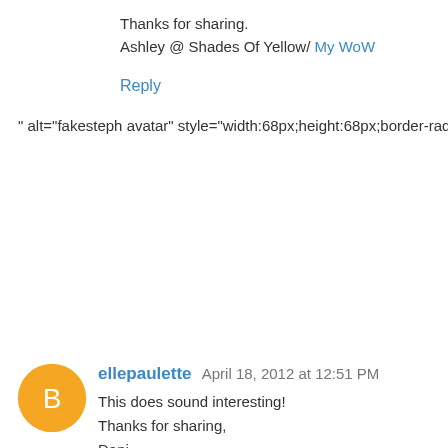Thanks for sharing.
Ashley @ Shades Of Yellow/ My WoW
Reply
fakesteph  April 18, 2012 at 11:48 AM
I want to read this one so bad!!!! New follower. :)
Reply
ellepaulette  April 18, 2012 at 12:51 PM
This does sound interesting!
Thanks for sharing,
Dani
http://paulettespapers.com/?p=1957
Reply
▾ Replies